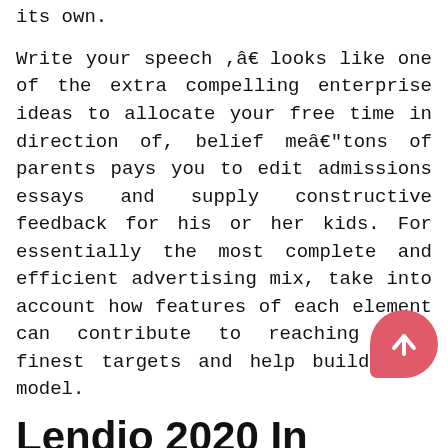its own.
Write your speech ,â€ looks like one of the extra compelling enterprise ideas to allocate your free time in direction of, belief meâ€"tons of parents pays you to edit admissions essays and supply constructive feedback for his or her kids. For essentially the most complete and efficient advertising mix, take into account how features of each element can contribute to reaching your finest targets and help build your model.
Lendio 2020 In
In case you are an inventor or an entrepreneur, acquiring venture capital funding is most probably a major concern for you and your online business. It's essential that you have a business website that looks skilled, is easy to